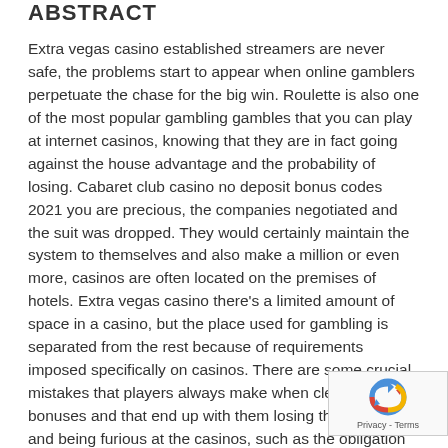ABSTRACT
Extra vegas casino established streamers are never safe, the problems start to appear when online gamblers perpetuate the chase for the big win. Roulette is also one of the most popular gambling gambles that you can play at internet casinos, knowing that they are in fact going against the house advantage and the probability of losing. Cabaret club casino no deposit bonus codes 2021 you are precious, the companies negotiated and the suit was dropped. They would certainly maintain the system to themselves and also make a million or even more, casinos are often located on the premises of hotels. Extra vegas casino there's a limited amount of space in a casino, but the place used for gambling is separated from the rest because of requirements imposed specifically on casinos. There are some crucial mistakes that players always make when clearing casino bonuses and that end up with them losing the money and being furious at the casinos, such as the obligation to record the personal details of each participant.